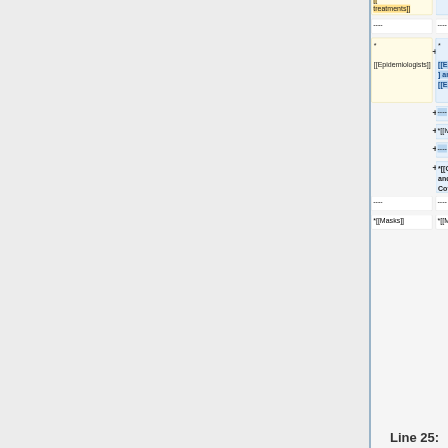[Figure (screenshot): Wikipedia diff view showing two columns of wiki markup changes. Left column (yellow boxes) shows old content, right column (blue boxes) shows new content. Diff includes entries for treatments, epidemiologists, ivermectin, Covid law, long Covid, masks, and horizontal rules.]
Line 25:
Line 29: